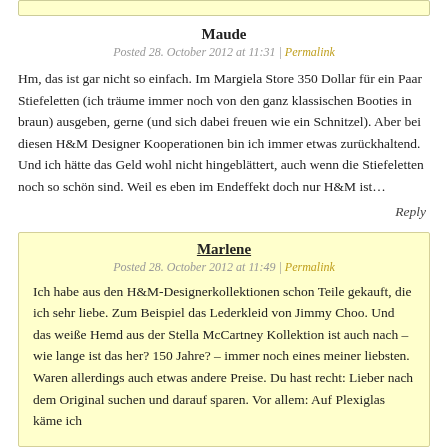[top yellow stripe area]
Maude
Posted 28. October 2012 at 11:31 | Permalink
Hm, das ist gar nicht so einfach. Im Margiela Store 350 Dollar für ein Paar Stiefeletten (ich träume immer noch von den ganz klassischen Booties in braun) ausgeben, gerne (und sich dabei freuen wie ein Schnitzel). Aber bei diesen H&M Designer Kooperationen bin ich immer etwas zurückhaltend. Und ich hätte das Geld wohl nicht hingeblättert, auch wenn die Stiefeletten noch so schön sind. Weil es eben im Endeffekt doch nur H&M ist…
Reply
Marlene
Posted 28. October 2012 at 11:49 | Permalink
Ich habe aus den H&M-Designerkollektionen schon Teile gekauft, die ich sehr liebe. Zum Beispiel das Lederkleid von Jimmy Choo. Und das weiße Hemd aus der Stella McCartney Kollektion ist auch nach – wie lange ist das her? 150 Jahre? – immer noch eines meiner liebsten. Waren allerdings auch etwas andere Preise. Du hast recht: Lieber nach dem Original suchen und darauf sparen. Vor allem: Auf Plexiglas käme ich